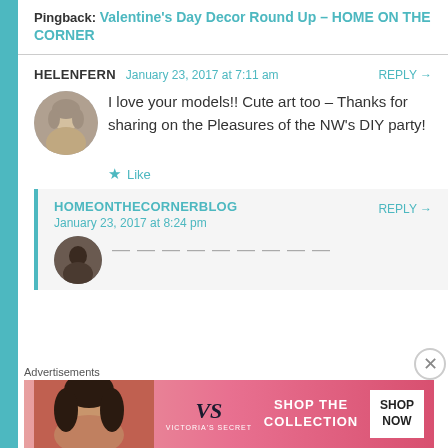Pingback: Valentine's Day Decor Round Up – HOME ON THE CORNER
HELENFERN   January 23, 2017 at 7:11 am   REPLY →
I love your models!! Cute art too – Thanks for sharing on the Pleasures of the NW's DIY party!
★ Like
HOMEONTHECORNERBLOG
January 23, 2017 at 8:24 pm   REPLY →
Advertisements
[Figure (other): Victoria's Secret advertisement banner with pink gradient background, VS logo, 'SHOP THE COLLECTION' text, and 'SHOP NOW' white button]